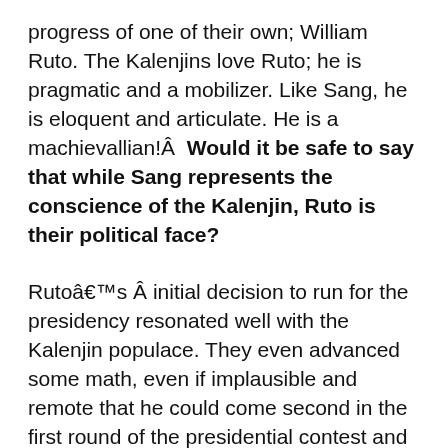progress of one of their own; William Ruto. The Kalenjins love Ruto; he is pragmatic and a mobilizer. Like Sang, he is eloquent and articulate. He is a machievallian!Â  Would it be safe to say that while Sang represents the conscience of the Kalenjin, Ruto is their political face?
Rutoâ€™s Â initial decision to run for the presidency resonated well with the Kalenjin populace. They even advanced some math, even if implausible and remote that he could come second in the first round of the presidential contest and pull a miracle in any run off. To be honest, the Kalenjin donâ€™t necessarily crave for the presidency just yet. Until just about ten years ago, Daniel Moi, a